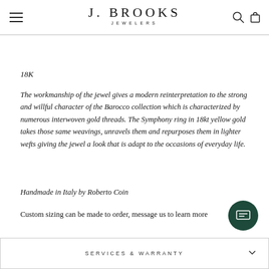J. BROOKS JEWELERS
18K
The workmanship of the jewel gives a modern reinterpretation to the strong and willful character of the Barocco collection which is characterized by numerous interwoven gold threads. The Symphony ring in 18kt yellow gold takes those same weavings, unravels them and repurposes them in lighter wefts giving the jewel a look that is adapt to the occasions of everyday life.
Handmade in Italy by Roberto Coin
Custom sizing can be made to order, message us to learn more
SERVICES & WARRANTY